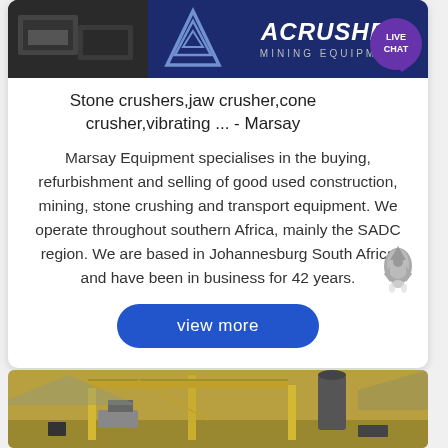[Figure (screenshot): Top banner showing construction/mining equipment image on left, triangle logo in center, and ACRUSHER MINING EQUIPMENT logo on right with dark blue background]
Stone crushers,jaw crusher,cone crusher,vibrating ... - Marsay
Marsay Equipment specialises in the buying, refurbishment and selling of good used construction, mining, stone crushing and transport equipment. We operate throughout southern Africa, mainly the SADC region. We are based in Johannesburg South Africa and have been in business for 42 years.
[Figure (illustration): Blue rounded rectangle button with text 'view more' in white]
[Figure (photo): Bottom photo showing mining/construction equipment - yellow crane or machinery structure with dark exhaust stack]